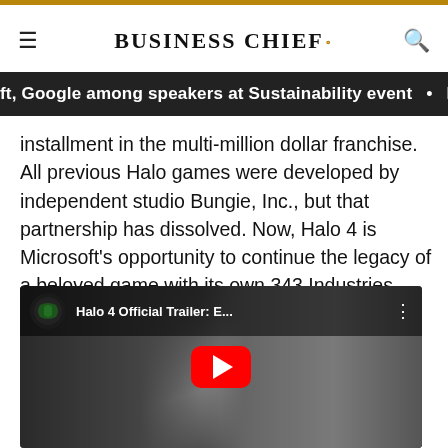BUSINESS CHIEF.
ft, Google among speakers at Sustainability event • Exe
installment in the multi-million dollar franchise. All previous Halo games were developed by independent studio Bungie, Inc., but that partnership has dissolved. Now, Halo 4 is Microsoft's opportunity to continue the legacy of a beloved game with its own 343 Industries studio and the software giant has used considerable resources to help make that happen.
[Figure (screenshot): YouTube video embed showing 'Halo 4 Official Trailer: E...' with Xbox channel icon, red play button, and a crowd scene background with a face in the foreground.]